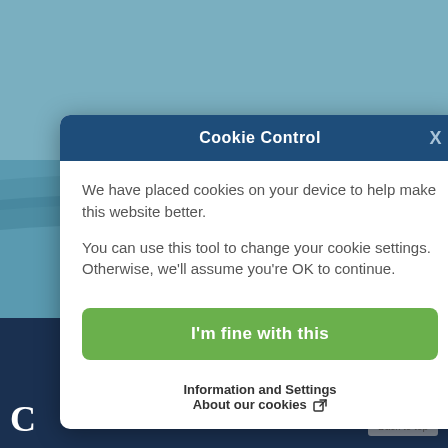[Figure (photo): Website screenshot showing two people in red rescue suits on an inflatable orange boat on water, with a cookie consent dialog overlay and a 'Text Us!' button]
Cookie Control
We have placed cookies on your device to help make this website better.
You can use this tool to change your cookie settings. Otherwise, we'll assume you're OK to continue.
I'm fine with this
Information and Settings
About our cookies